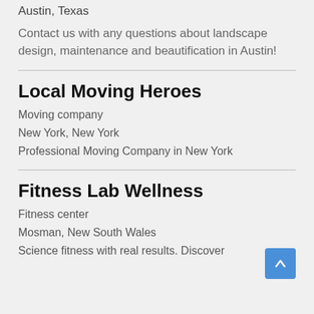Austin, Texas
Contact us with any questions about landscape design, maintenance and beautification in Austin!
Local Moving Heroes
Moving company
New York, New York
Professional Moving Company in New York
Fitness Lab Wellness
Fitness center
Mosman, New South Wales
Science fitness with real results. Discover